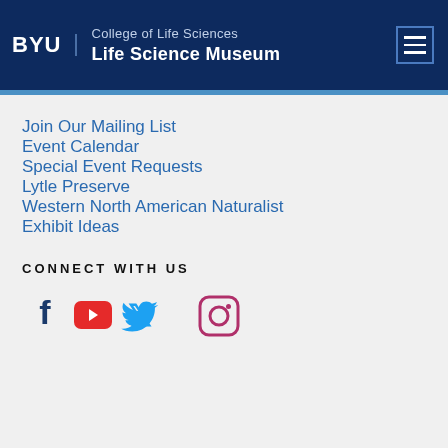BYU | College of Life Sciences Life Science Museum
Join Our Mailing List
Event Calendar
Special Event Requests
Lytle Preserve
Western North American Naturalist
Exhibit Ideas
CONNECT WITH US
[Figure (other): Social media icons: Facebook, YouTube, Twitter, Instagram]